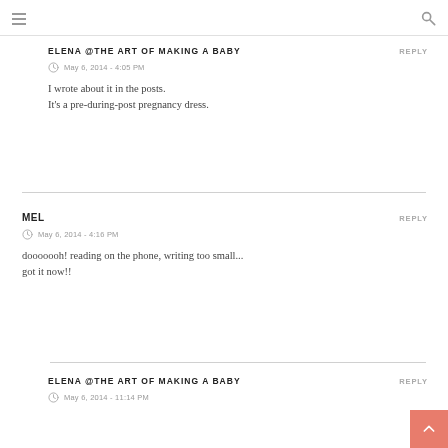≡  [menu icon]   [search icon]
ELENA @THE ART OF MAKING A BABY  REPLY
May 6, 2014 - 4:05 PM
I wrote about it in the posts.
It's a pre-during-post pregnancy dress.
MEL  REPLY
May 6, 2014 - 4:16 PM
dooooooh! reading on the phone, writing too small... got it now!!
ELENA @THE ART OF MAKING A BABY  REPLY
May 6, 2014 - 11:14 PM